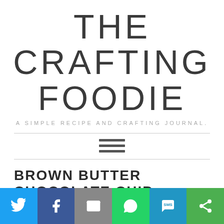THE CRAFTING FOODIE
A SIMPLE RECIPE AND CRAFTING JOURNAL.
[Figure (other): Hamburger menu icon (three horizontal lines)]
BROWN BUTTER CHOCOLATE CHIP CUPCAKES
[Figure (infographic): Social share bar with Twitter, Facebook, Email, WhatsApp, SMS, and Share icons]